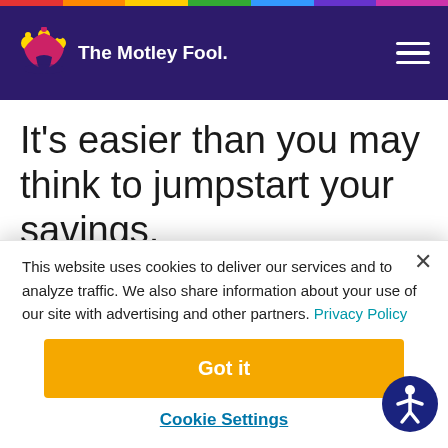[Figure (logo): The Motley Fool logo with jester hat in purple navigation header]
It's easier than you may think to jumpstart your savings.
Money is the top source of stress among
This website uses cookies to deliver our services and to analyze traffic. We also share information about your use of our site with advertising and other partners. Privacy Policy
Got it
Cookie Settings